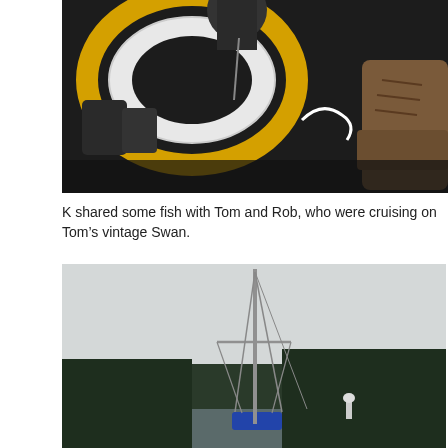[Figure (photo): Close-up photo showing hands holding a yellow-rimmed circular object (possibly a fishing reel or life preserver), dark background, with a boot visible at the right edge.]
K shared some fish with Tom and Rob, who were cruising on Tom’s vintage Swan.
[Figure (photo): Photo of a sailboat with a tall mast, anchored in a calm anchorage surrounded by dark evergreen forest. Overcast grey sky. Blue sail cover visible at base of mast.]